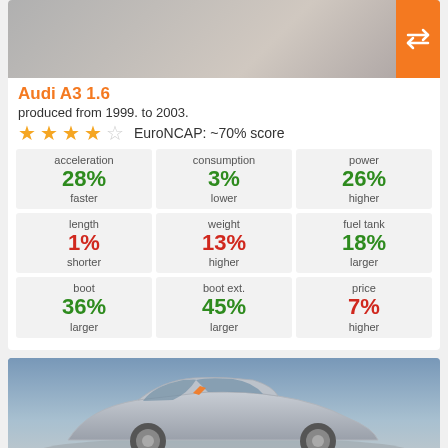[Figure (photo): Top portion of a red Audi A3 1.6 car photo with an orange compare button in the top-right corner]
Audi A3 1.6
produced from 1999. to 2003.
★★★★☆  EuroNCAP: ~70% score
| metric | pct | direction |
| --- | --- | --- |
| acceleration | 28% | faster |
| consumption | 3% | lower |
| power | 26% | higher |
| length | 1% | shorter |
| weight | 13% | higher |
| fuel tank | 18% | larger |
| boot | 36% | larger |
| boot ext. | 45% | larger |
| price | 7% | higher |
[Figure (photo): Silver Ford Focus hatchback car photo, partial view, lower portion of page]